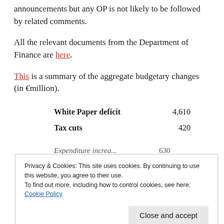announcements but any OP is not likely to be followed by related comments.
All the relevant documents from the Department of Finance are here.
This is a summary of the aggregate budgetary changes (in €million).
|  |  |
| --- | --- |
| White Paper deficit | 4,610 |
| Tax cuts | 420 |
| Expenditure increases | 630 |
|  | 5,185 |
Privacy & Cookies: This site uses cookies. By continuing to use this website, you agree to their use. To find out more, including how to control cookies, see here: Cookie Policy
Close and accept